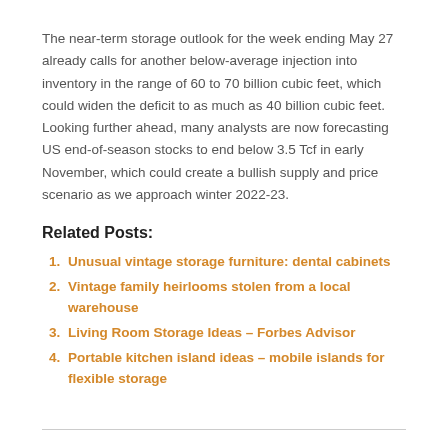The near-term storage outlook for the week ending May 27 already calls for another below-average injection into inventory in the range of 60 to 70 billion cubic feet, which could widen the deficit to as much as 40 billion cubic feet. Looking further ahead, many analysts are now forecasting US end-of-season stocks to end below 3.5 Tcf in early November, which could create a bullish supply and price scenario as we approach winter 2022-23.
Related Posts:
Unusual vintage storage furniture: dental cabinets
Vintage family heirlooms stolen from a local warehouse
Living Room Storage Ideas – Forbes Advisor
Portable kitchen island ideas – mobile islands for flexible storage